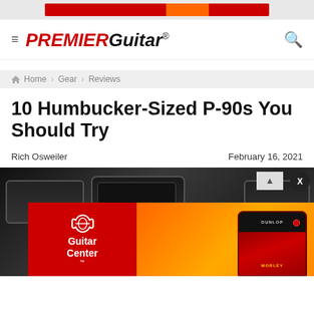[Figure (other): Top advertisement banner with red and orange color blocks]
≡ PREMIER Guitar® 🔍
Home › Gear › Reviews
10 Humbucker-Sized P-90s You Should Try
Rich Osweiler    February 16, 2021
[Figure (photo): Hero image showing humbucker-sized P-90 guitar pickups on dark background, with Guitar Center advertisement overlay featuring a red wah pedal on orange/gradient background]